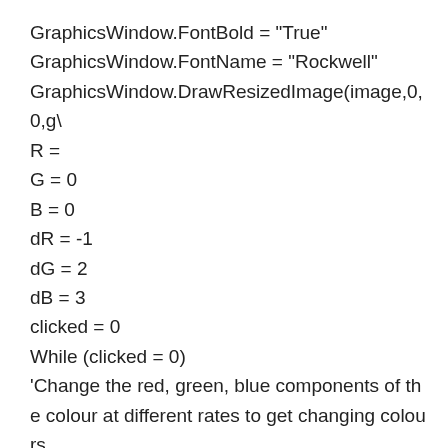GraphicsWindow.FontBold = "True"
GraphicsWindow.FontName = "Rockwell"
GraphicsWindow.DrawResizedImage(image,0,0,g\
R =
G = 0
B = 0
dR = -1
dG = 2
dB = 3
clicked = 0
While (clicked = 0)
'Change the red, green, blue components of the colour at different rates to get changing colours
If (R < 0 Or R > ) Then
dR = -dR
R = R+dR